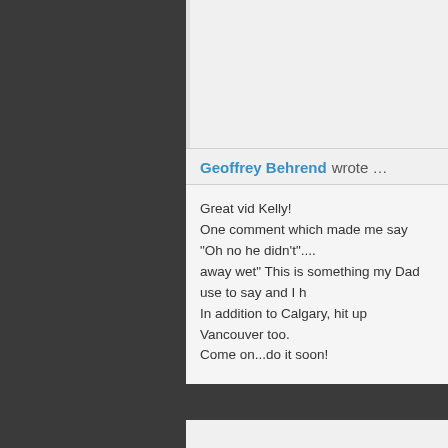Geoffrey Behrend wrote …
Great vid Kelly!
One comment which made me say "Oh no he didn't".... away wet" This is something my Dad use to say and I h
In addition to Calgary, hit up Vancouver too.
Come on...do it soon!
Saul Jimenez wrote …
I was just riding my athletes like a pony yesterday abou
This is where coordination and accuracy have a direct e you can't control a muscle, it can't be stronger and sure going on the website. Thanks K-Star!
Steven Lamm wrote